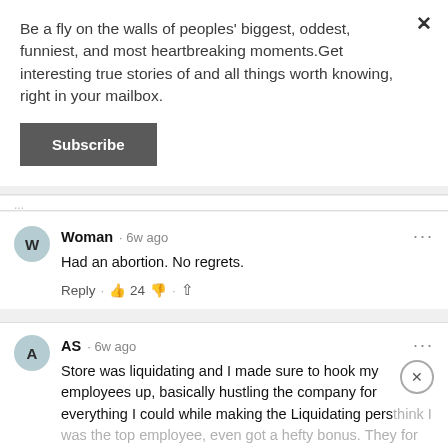Be a fly on the walls of peoples' biggest, oddest, funniest, and most heartbreaking moments.Get interesting true stories of and all things worth knowing, right in your mailbox.
Subscribe
Woman · 6w ago
Had an abortion. No regrets.
Reply · 👍 24 👎 · ↑
AS · 6w ago
Store was liquidating and I made sure to hook my employees up, basically hustling the company for everything I could while making the Liquidating pers think I was the top employee, even got a hefty bonus. They for sure lot A LOT of money...See more